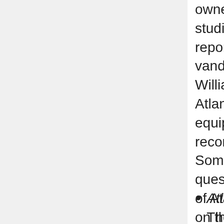owned by Thevis and another studio where Wayne Williams reportedly had worked, vandalism occurred after Williams was implicated in the Atlanta murders. Expensive equipment was smashed, and recordings were destroyed. Some investigators asked a valid question: Were the voices of any of Atlanta's young murder victims on those recordings that had been destroyed? Or was there something else of interest? One recording studio owner claimed that it was the police who had broken in.
Atlanta Constitution, "IRS Sells Thevis Firm's Property",